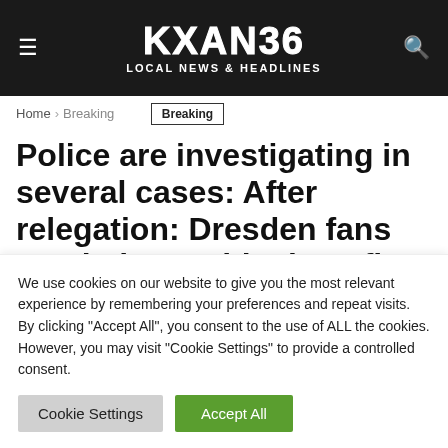KXAN36 LOCAL NEWS & HEADLINES
Home › Breaking
Breaking
Police are investigating in several cases: After relegation: Dresden fans set their own block on fire
We use cookies on our website to give you the most relevant experience by remembering your preferences and repeat visits. By clicking "Accept All", you consent to the use of ALL the cookies. However, you may visit "Cookie Settings" to provide a controlled consent.